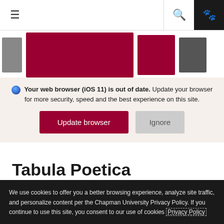Navigation bar with hamburger menu, search icon, and paw icon
[Figure (screenshot): Partial view of website banner with dark gray and deep red/maroon rectangular image blocks]
Your web browser (iOS 11) is out of date. Update your browser for more security, speed and the best experience on this site.
Update browser | Ignore
Tabula Poetica
Join us for live-streaming of all our events for Fall 2020 on the Tabula
We use cookies to offer you a better browsing experience, analyze site traffic, and personalize content per the Chapman University Privacy Policy. If you continue to use this site, you consent to our use of cookies Privacy Policy